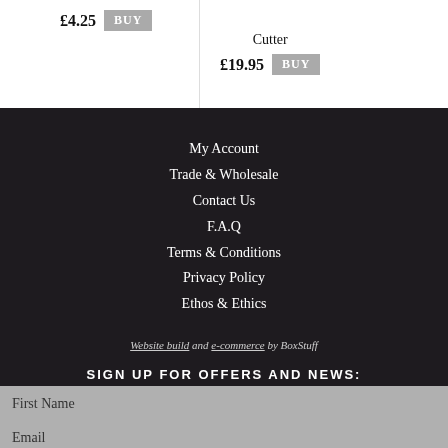£4.25 BUY
Cutter £19.95 BUY
My Account
Trade & Wholesale
Contact Us
F.A.Q
Terms & Conditions
Privacy Policy
Ethos & Ethics
Website build and e-commerce by BoxStuff
SIGN UP FOR OFFERS AND NEWS:
First Name
Email